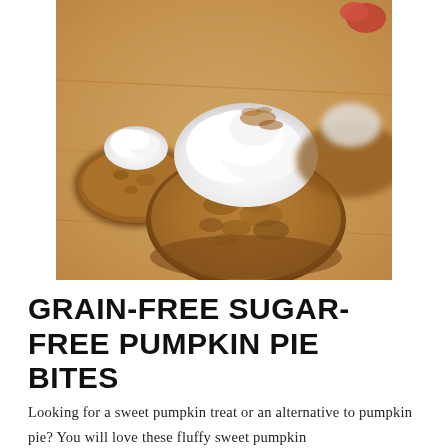[Figure (photo): Close-up photo of grain-free sugar-free pumpkin pie bites on a wooden surface. Small round pumpkin pie bites topped with white whipped cream and a dusting of cinnamon. The bites have a textured golden-brown surface.]
GRAIN-FREE SUGAR-FREE PUMPKIN PIE BITES
Looking for a sweet pumpkin treat or an alternative to pumpkin pie? You will love these fluffy sweet pumpkin